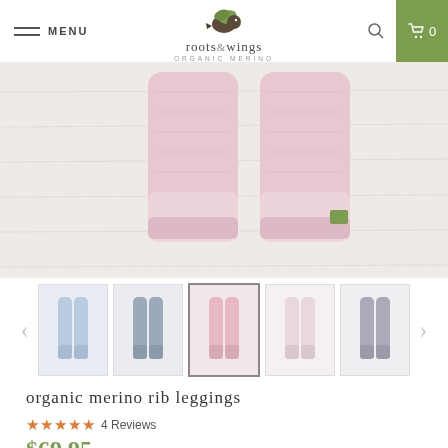MENU | roots&wings ORGANIC MERINO | Search | Cart 0
[Figure (photo): Close-up flat-lay photo of pink organic merino rib leggings on a white wood surface showing two legs of the garment with fold-over cuffs and a small green logo tag]
[Figure (photo): Thumbnail strip showing five color variants of the organic merino rib leggings: light blue, blue-grey, pink (active/selected), pale pink, and grey, with previous and next navigation arrows]
organic merino rib leggings
4 Reviews
$69.95